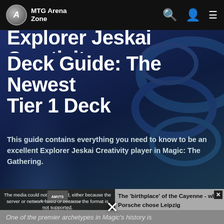MTG Arena Zone
Explorer Jeskai Creativity Deck Guide: The Newest Tier 1 Deck
This guide contains everything you need to know to be an excellent Explorer Jeskai Creativity player in Magic: The Gathering.
[Figure (screenshot): Video player showing an error message: 'The media could not be loaded, either because the server or network failed or because the format is not supported.' alongside an advertisement panel showing text about 'The birthplace of the Cayenne - why Porsche chose Leipzig' with a close button, and an X dismiss button below.]
One of the premier archetypes in Magic's history is